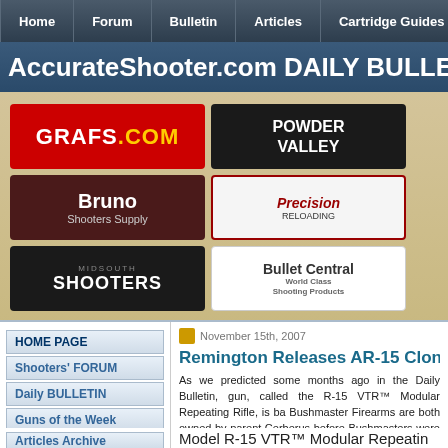Home | Forum | Bulletin | Articles | Cartridge Guides
AccurateShooter.com DAILY BULLET
[Figure (logo): Sponsor logos: GRAFS.COM, POWDER VALLEY, Bruno Shooters Supply, Precision Reloading, MIDSOUTH SHOOTERS, Bullet Central]
HOME PAGE
Shooters' FORUM
Daily BULLETIN
Guns of the Week
Articles Archive
BLOG Archive
Competition Info
Varmint Pages
6BR Info Page
6BR Improved
17 CAL Info Page
November 15th, 2007
Remington Releases AR-15 Clone
As we predicted some months ago in the Daily Bulletin, gun, called the R-15 VTR™ Modular Repeating Rifle, is ba Bushmaster Firearms are both owned by parent Cerberus before Bushmasters were rebranded with the Remington n
Model R-15 VTR™ Modular Repeatin
[Figure (photo): Photo of Remington R-15 VTR rifle in camouflage finish]